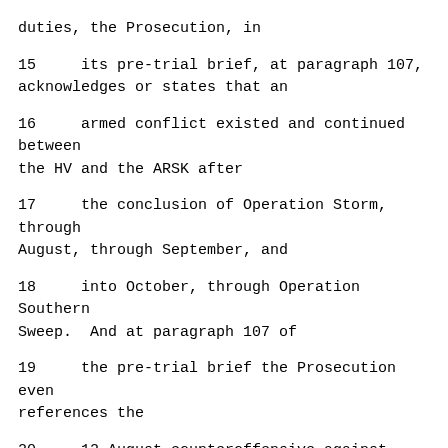duties, the Prosecution, in
15     its pre-trial brief, at paragraph 107, acknowledges or states that an
16     armed conflict existed and continued between the HV and the ARSK after
17     the conclusion of Operation Storm, through August, through September, and
18     into October, through Operation Southern Sweep.  And at paragraph 107 of
19     the pre-trial brief the Prosecution even references the
20     12 August counteroffensive against General Gotovina's forces in Bosnia,